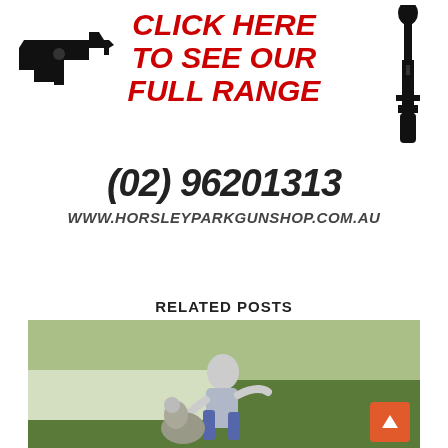[Figure (illustration): Advertisement banner for Horsley Park Gun Shop with silhouettes of a handgun on the left and a rifle on the right, bold red italic text reading CLICK HERE TO SEE OUR FULL RANGE in the center, large phone number (02) 96201313, and website www.horsleyparkgunshop.com.au]
RELATED POSTS
[Figure (photo): Outdoor photo showing a person crouching near a body of water interacting with what appears to be a kangaroo or animal, with green grass in background]